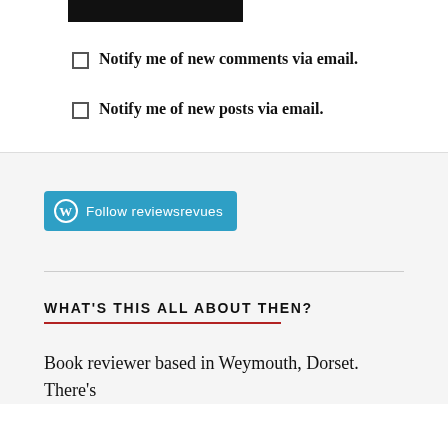[Figure (other): Black rectangular button/bar at top]
Notify me of new comments via email.
Notify me of new posts via email.
[Figure (other): WordPress Follow button for reviewsrevues]
WHAT'S THIS ALL ABOUT THEN?
Book reviewer based in Weymouth, Dorset. There's